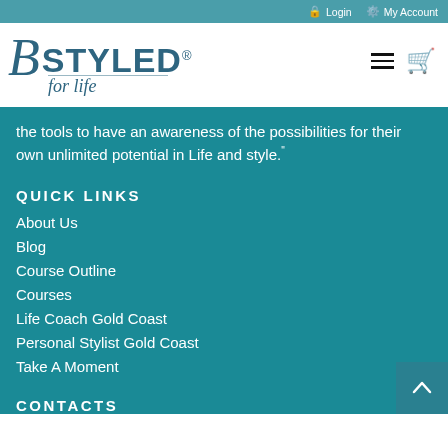Login  My Account
[Figure (logo): bStyled for life logo - cursive script with B and STYLED text in teal/dark blue]
the tools to have an awareness of the possibilities for their own unlimited potential in Life and style."
QUICK LINKS
About Us
Blog
Course Outline
Courses
Life Coach Gold Coast
Personal Stylist Gold Coast
Take A Moment
CONTACTS